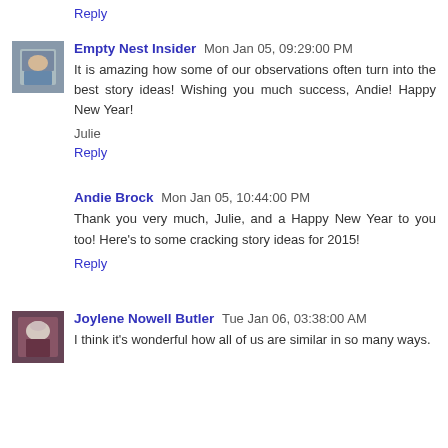Reply
Empty Nest Insider  Mon Jan 05, 09:29:00 PM
It is amazing how some of our observations often turn into the best story ideas! Wishing you much success, Andie! Happy New Year!
Julie
Reply
Andie Brock  Mon Jan 05, 10:44:00 PM
Thank you very much, Julie, and a Happy New Year to you too! Here's to some cracking story ideas for 2015!
Reply
Joylene Nowell Butler  Tue Jan 06, 03:38:00 AM
I think it's wonderful how all of us are similar in so many ways.